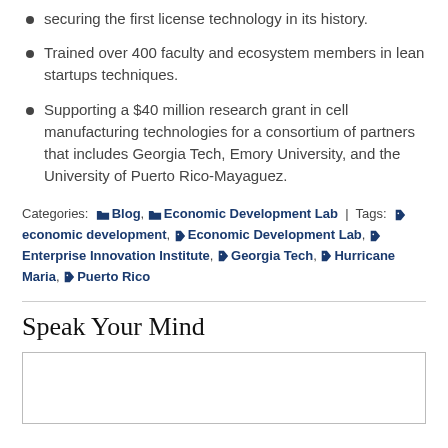securing the first license technology in its history.
Trained over 400 faculty and ecosystem members in lean startups techniques.
Supporting a $40 million research grant in cell manufacturing technologies for a consortium of partners that includes Georgia Tech, Emory University, and the University of Puerto Rico-Mayaguez.
Categories: Blog, Economic Development Lab | Tags: economic development, Economic Development Lab, Enterprise Innovation Institute, Georgia Tech, Hurricane Maria, Puerto Rico
Speak Your Mind